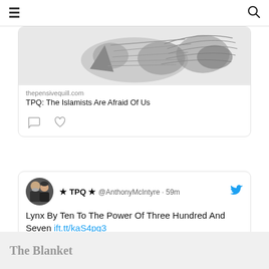≡   🔍
[Figure (screenshot): Partial tweet card showing a linked article preview image (black and white illustration of quill/bird) from thepensivequill.com with title 'TPQ: The Islamists Are Afraid Of Us', with comment and heart action icons below]
thepensivequill.com
TPQ: The Islamists Are Afraid Of Us
[Figure (screenshot): Tweet by ★ TPQ ★ @AnthonyMcIntyre · 59m: 'Lynx By Ten To The Power Of Three Hundred And Seven ift.tt/kaS4pg3' with profile photo of couple and a black-and-white preview image of metallic letters/numbers below]
★ TPQ ★ @AnthonyMcIntyre · 59m
Lynx By Ten To The Power Of Three Hundred And Seven ift.tt/kaS4pg3
The Blanket